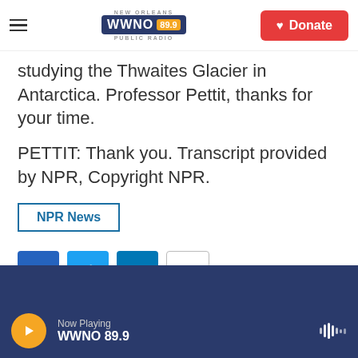NEW ORLEANS WWNO 89.9 PUBLIC RADIO — Donate
studying the Thwaites Glacier in Antarctica. Professor Pettit, thanks for your time.
PETTIT: Thank you. Transcript provided by NPR, Copyright NPR.
NPR News
[Figure (infographic): Social sharing buttons: Facebook (blue), Twitter (blue), LinkedIn (blue), Email (white/outlined)]
Now Playing WWNO 89.9